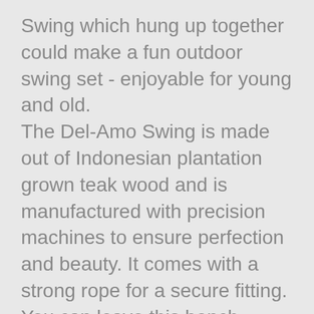Swing which hung up together could make a fun outdoor swing set - enjoyable for young and old.
The Del-Amo Swing is made out of Indonesian plantation grown teak wood and is manufactured with precision machines to ensure perfection and beauty. It comes with a strong rope for a secure fitting.
You can leave this bench outdoors all year round; it will last for many years and age with grace.
There is very little maintenance requested. Just wipe it with a damp towel from time to time or rinse it with your garden hose. Teak wood furniture is very resilient and sturdy and plantation grown teak is known for its beauty and longevity.